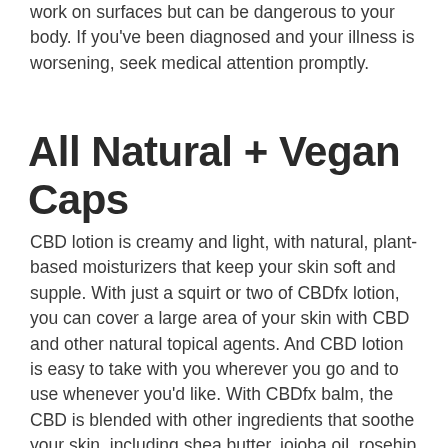work on surfaces but can be dangerous to your body. If you've been diagnosed and your illness is worsening, seek medical attention promptly.
All Natural + Vegan Caps
CBD lotion is creamy and light, with natural, plant-based moisturizers that keep your skin soft and supple. With just a squirt or two of CBDfx lotion, you can cover a large area of your skin with CBD and other natural topical agents. And CBD lotion is easy to take with you wherever you go and to use whenever you'd like. With CBDfx balm, the CBD is blended with other ingredients that soothe your skin, including shea butter, jojoba oil, rosehip oil, and tea tree oil. CBD balm has a stiffer consistency than CBD lotion, so you scoop a little out of the container with your fingertips and then massage it into your body where you see fit. CBD balm is a good choice if you want to address certain discomforts.